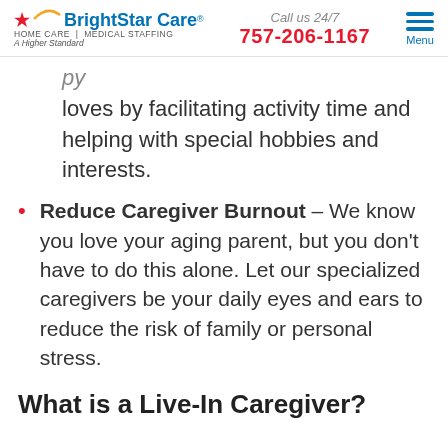BrightStar Care HOME CARE | MEDICAL STAFFING A Higher Standard | Call us 24/7 757-206-1167 | Menu
loves by facilitating activity time and helping with special hobbies and interests.
Reduce Caregiver Burnout – We know you love your aging parent, but you don't have to do this alone. Let our specialized caregivers be your daily eyes and ears to reduce the risk of family or personal stress.
What is a Live-In Caregiver?